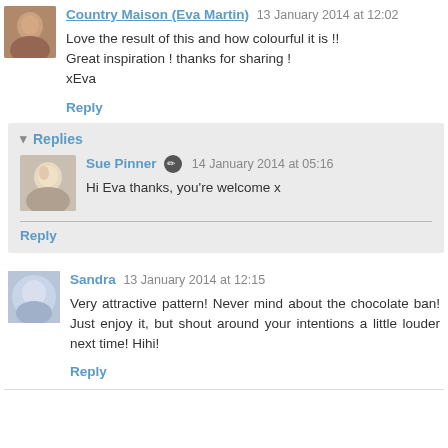Country Maison (Eva Martin) 13 January 2014 at 12:02
Love the result of this and how colourful it is !!
Great inspiration ! thanks for sharing !
xEva
Reply
Replies
Sue Pinner 14 January 2014 at 05:16
Hi Eva thanks, you're welcome x
Reply
Sandra 13 January 2014 at 12:15
Very attractive pattern! Never mind about the chocolate ban! Just enjoy it, but shout around your intentions a little louder next time! Hihi!
Reply